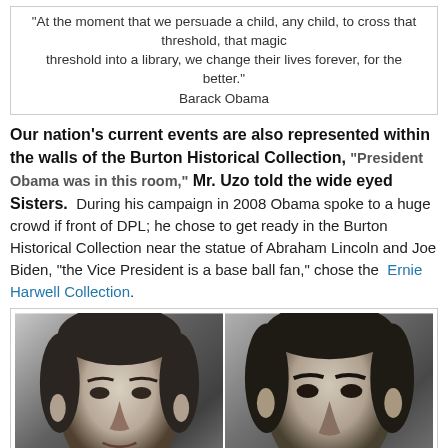"At the moment that we persuade a child, any child, to cross that threshold, that magic threshold into a library, we change their lives forever, for the better." Barack Obama
Our nation's current events are also represented within the walls of the Burton Historical Collection, "President Obama was in this room," Mr. Uzo told the wide eyed Sisters. During his campaign in 2008 Obama spoke to a huge crowd if front of DPL; he chose to get ready in the Burton Historical Collection near the statue of Abraham Lincoln and Joe Biden, "the Vice President is a base ball fan," chose the Ernie Harwell Collection.
[Figure (photo): Two black and white portrait photographs side by side, showing historical figures (Abraham Lincoln on the right, another person on the left)]